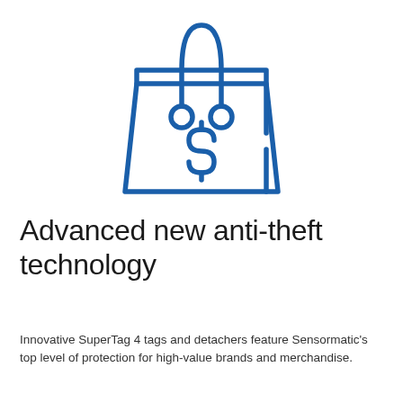[Figure (illustration): Blue outline icon of a shopping bag with a dollar sign on the front and two circular tag connectors hanging from the handles]
Advanced new anti-theft technology
Innovative SuperTag 4 tags and detachers feature Sensormatic's top level of protection for high-value brands and merchandise.